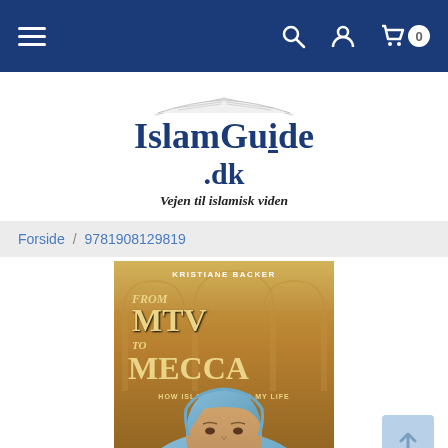Navigation bar with hamburger menu, search, user, and cart icons
[Figure (logo): IslamGuide.dk logo with open book illustration and tagline 'Vejen til islamisk viden']
Forside / 9781908129819
[Figure (photo): Book cover: 'From MTV to Mecca - How Islam Inspired My Life' by Kristiane Backer. Shows author in blue hijab against ornate mosque background.]